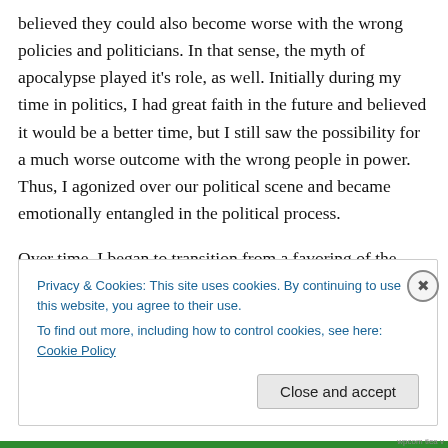believed they could also become worse with the wrong policies and politicians. In that sense, the myth of apocalypse played it's role, as well. Initially during my time in politics, I had great faith in the future and believed it would be a better time, but I still saw the possibility for a much worse outcome with the wrong people in power. Thus, I agonized over our political scene and became emotionally entangled in the political process.
Over time, I began to transition from a favoring of the myth of progress to the myth of apocalypse. As I read about
Privacy & Cookies: This site uses cookies. By continuing to use this website, you agree to their use.
To find out more, including how to control cookies, see here: Cookie Policy